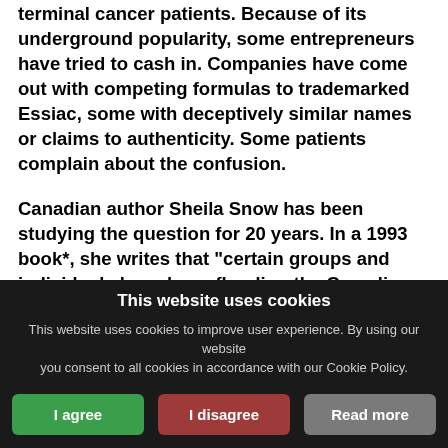terminal cancer patients. Because of its underground popularity, some entrepreneurs have tried to cash in. Companies have come out with competing formulas to trademarked Essiac, some with deceptively similar names or claims to authenticity. Some patients complain about the confusion.

Canadian author Sheila Snow has been studying the question for 20 years. In a 1993 book*, she writes that "certain groups and individuals have been flooding the Canadian market with products reputed to be made from [the] original recipe." Naturally, "each distributor denies the authenticity of other
This website uses cookies
This website uses cookies to improve user experience. By using our website you consent to all cookies in accordance with our Cookie Policy.